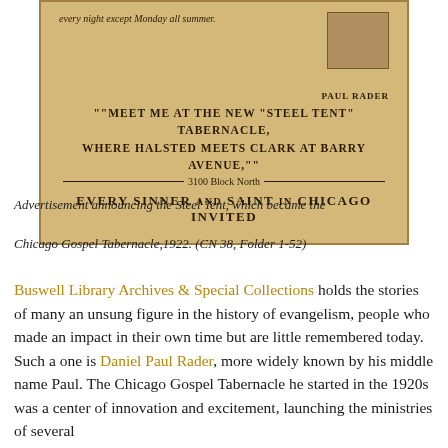[Figure (photo): Scanned newspaper advertisement on tan/sepia background with text: 'every night except Monday all summer.' with a photo of Paul Rader top right, then '"MEET ME AT THE NEW "STEEL TENT" TABERNACLE, WHERE HALSTED MEETS CLARK AT BARRY AVENUE,"' then '3100 Block North' with decorative lines, then 'EVERY SINNER AND SAINT IN CHICAGO INVITED']
Advertisement announcing the Steel Tent, which became the Chicago Gospel Tabernacle,1922. (CN 38, Folder 1-52)
Buswell Library Archives & Special Collections holds the stories of many an unsung figure in the history of evangelism, people who made an impact in their own time but are little remembered today. Such a one is Daniel Paul Rader, more widely known by his middle name Paul. The Chicago Gospel Tabernacle he started in the 1920s was a center of innovation and excitement, launching the ministries of several